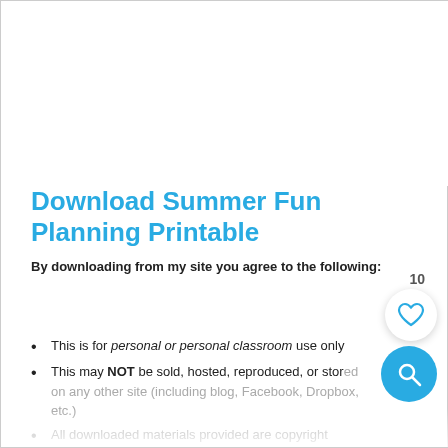Download Summer Fun Planning Printable
By downloading from my site you agree to the following:
This is for personal or personal classroom use only
This may NOT be sold, hosted, reproduced, or stored on any other site (including blog, Facebook, Dropbox, etc.)
All downloaded materials provided are copyright protected. Please see Terms of License